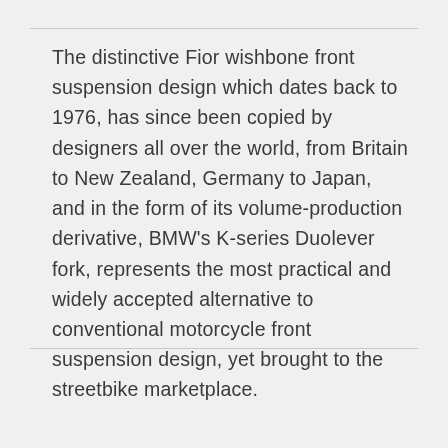The distinctive Fior wishbone front suspension design which dates back to 1976, has since been copied by designers all over the world, from Britain to New Zealand, Germany to Japan, and in the form of its volume-production derivative, BMW's K-series Duolever fork, represents the most practical and widely accepted alternative to conventional motorcycle front suspension design, yet brought to the streetbike marketplace.